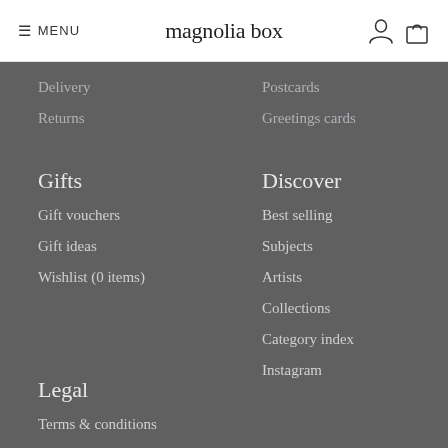≡ MENU  magnolia box  [user icon] [bag icon]
Delivery
Returns
Gifts
Gift vouchers
Gift ideas
Wishlist (0 items)
Postcards
Greetings cards
Discover
Best selling
Subjects
Artists
Collections
Category index
Instagram
Legal
Terms & conditions
Privacy policy